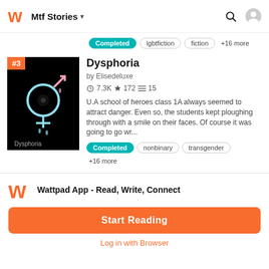Mtf Stories
Completed  lgbtfiction  fiction  +16 more
Dysphoria
by Elisedeluxe
7.3K ★ 172 ≡ 15
U.A school of heroes class 1A always seemed to attract danger. Even so, the students kept ploughing through with a smile on their faces. Of course it was going to go wr...
Completed  nonbinary  transgender  +16 more
Wattpad App - Read, Write, Connect
Start Reading
Log in with Browser